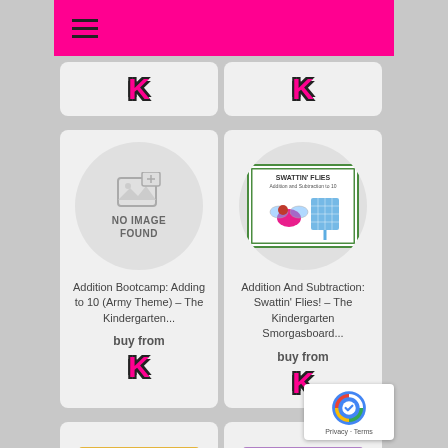Navigation menu (hamburger icon) on pink header bar
[Figure (logo): K logo (Kindergarten Smorgasboard) pink letter K with dark outline, top-left card]
[Figure (logo): K logo (Kindergarten Smorgasboard) pink letter K with dark outline, top-right card]
[Figure (illustration): No image found placeholder with image icon and text NO IMAGE FOUND]
Addition Bootcamp: Adding to 10 (Army Theme) – The Kindergarten...
buy from
[Figure (logo): K logo (Kindergarten Smorgasboard) pink letter K, bottom of left card]
[Figure (illustration): Swattin Flies Addition and Subtraction product image showing flies and flyswatter on green-bordered card]
Addition And Subtraction: Swattin' Flies! – The Kindergarten Smorgasboard...
buy from
[Figure (logo): K logo (Kindergarten Smorgasboard) pink letter K, bottom of right card]
[Figure (illustration): Donut Shop product partial image at bottom left]
[Figure (illustration): Dinosaurs And... product partial image at bottom right]